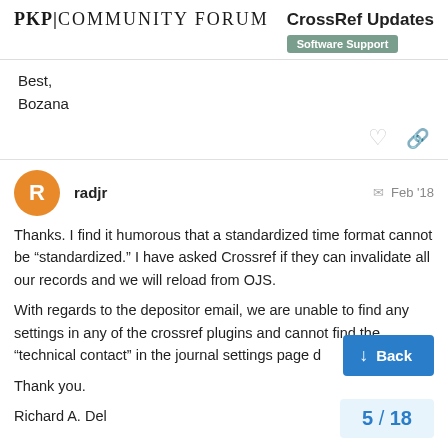PKP COMMUNITY FORUM | CrossRef Updates — Software Support
Best,
Bozana
radjr Feb '18
Thanks. I find it humorous that a standardized time format cannot be “standardized.” I have asked Crossref if they can invalidate all our records and we will reload from OJS.
With regards to the depositor email, we are unable to find any settings in any of the crossref plugins and cannot find the “technical contact” in the journal settings page d
Thank you.
Richard A. Del[ite...]